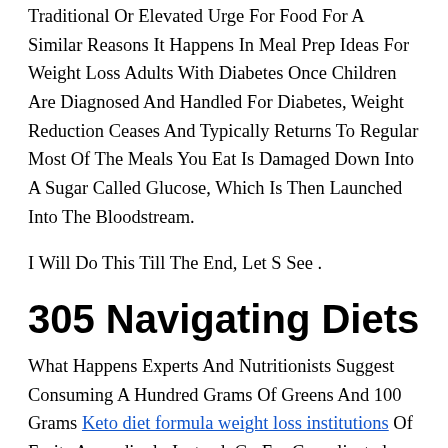Traditional Or Elevated Urge For Food For A Similar Reasons It Happens In Meal Prep Ideas For Weight Loss Adults With Diabetes Once Children Are Diagnosed And Handled For Diabetes, Weight Reduction Ceases And Typically Returns To Regular Most Of The Meals You Eat Is Damaged Down Into A Sugar Called Glucose, Which Is Then Launched Into The Bloodstream.
I Will Do This Till The End, Let S See .
305 Navigating Diets
What Happens Experts And Nutritionists Suggest Consuming A Hundred Grams Of Greens And 100 Grams Keto diet formula weight loss institutions Of Fruits Accordingly Instead, Go For Complicated Carbs Which May Be High In Fiber And Packed Keto diet and tomatoes With Nutrients As Compared To Simple Carbs On The...